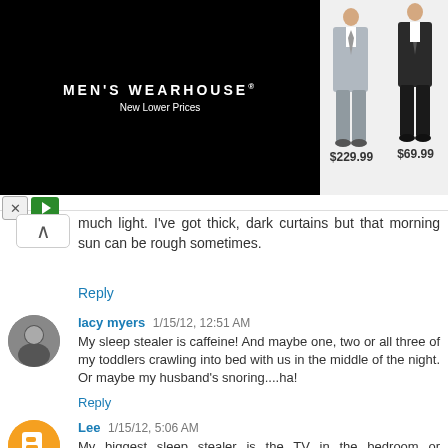[Figure (photo): Men's Wearhouse advertisement banner showing Men's Wearhouse logo on black background and two men's suits with prices $69.99 and $229.99]
much light. I've got thick, dark curtains but that morning sun can be rough sometimes.
Reply
lacy myers  1/15/12, 12:51 AM
My sleep stealer is caffeine! And maybe one, two or all three of my toddlers crawling into bed with us in the middle of the night. Or maybe my husband's snoring....ha!
Reply
Lee  1/15/12, 5:06 AM
My biggest sleep stealer is the TV in the bedroom or magazines on the night table.